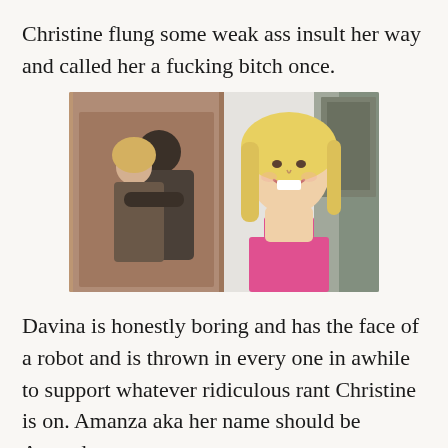Christine flung some weak ass insult her way and called her a fucking bitch once.
[Figure (photo): Composite image: left side shows a man and woman embracing/hugging in winter coats; right side shows a smiling blonde woman in a pink top against an abstract background.]
Davina is honestly boring and has the face of a robot and is thrown in every one in awhile to support whatever ridiculous rant Christine is on. Amanza aka her name should be Amanda